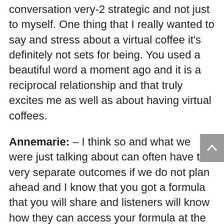conversation very-2 strategic and not just to myself. One thing that I really wanted to say and stress about a virtual coffee it's definitely not sets for being. You used a beautiful word a moment ago and it is a reciprocal relationship and that truly excites me as well as about having virtual coffees.
Annemarie: – I think so and what we were just talking about can often have two very separate outcomes if we do not plan ahead and I know that you got a formula that you will share and listeners will know how they can access your formula at the end of the call. If you don't have a strategic plan and have an idea on some of the